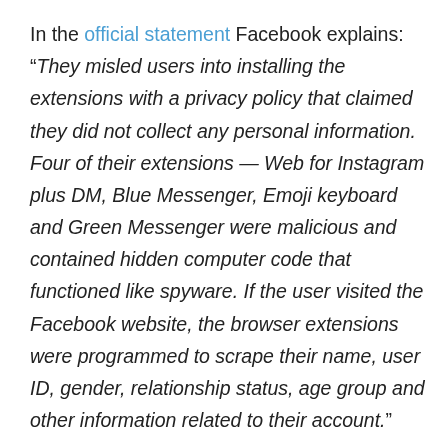In the official statement Facebook explains: “They misled users into installing the extensions with a privacy policy that claimed they did not collect any personal information. Four of their extensions — Web for Instagram plus DM, Blue Messenger, Emoji keyboard and Green Messenger were malicious and contained hidden computer code that functioned like spyware. If the user visited the Facebook website, the browser extensions were programmed to scrape their name, user ID, gender, relationship status, age group and other information related to their account.”